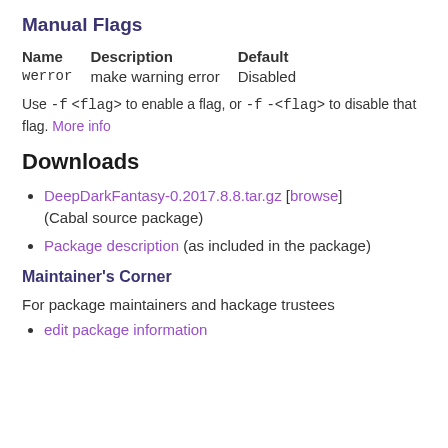Manual Flags
| Name | Description | Default |
| --- | --- | --- |
| werror | make warning error | Disabled |
Use -f <flag> to enable a flag, or -f -<flag> to disable that flag. More info
Downloads
DeepDarkFantasy-0.2017.8.8.tar.gz [browse] (Cabal source package)
Package description (as included in the package)
Maintainer's Corner
For package maintainers and hackage trustees
edit package information